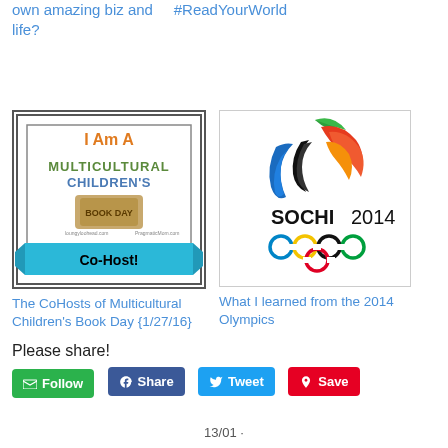own amazing biz and life?    #ReadYourWorld
[Figure (logo): Multicultural Children's Book Day Co-Host badge with orange text 'I Am A', teal/brown book graphic, and blue ribbon saying 'Co-Host!']
The CoHosts of Multicultural Children's Book Day {1/27/16}
[Figure (logo): Sochi 2014 Winter Olympics logo with colorful flame/phoenix graphic, 'SOCHI 2014' text, and Olympic rings]
What I learned from the 2014 Olympics
Please share!
Follow  Share  Tweet  Save
13/01 ·